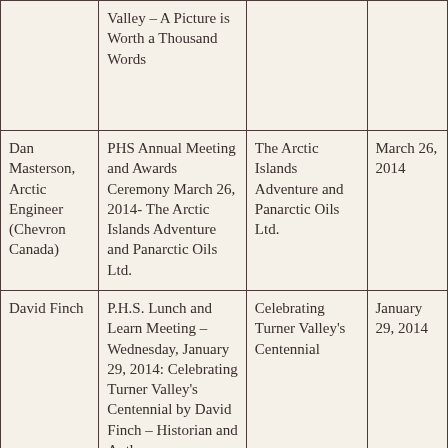|  | Valley – A Picture is Worth a Thousand Words |  |  |
| Dan Masterson, Arctic Engineer (Chevron Canada) | PHS Annual Meeting and Awards Ceremony March 26, 2014- The Arctic Islands Adventure and Panarctic Oils Ltd. | The Arctic Islands Adventure and Panarctic Oils Ltd. | March 26, 2014 |
| David Finch | P.H.S. Lunch and Learn Meeting – Wednesday, January 29, 2014: Celebrating Turner Valley's Centennial by David Finch – Historian and Author | Celebrating Turner Valley's Centennial | January 29, 2014 |